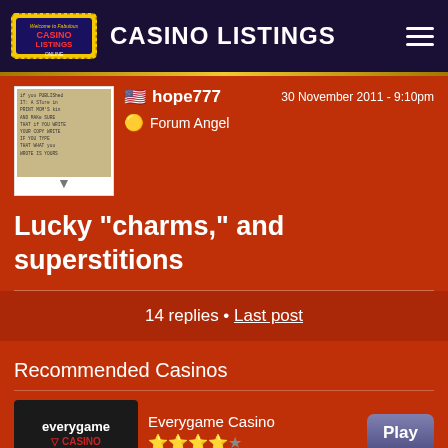CASINO LISTINGS
hope777 · 30 November 2011 - 9:10pm · Forum Angel
Lucky "charms," and superstitions
14 replies • Last post
Recommended Casinos
Everygame Casino - 4.5 stars - Play
Slots.lv - 4.5 stars - Play
Casino Extreme - 4 stars - Play